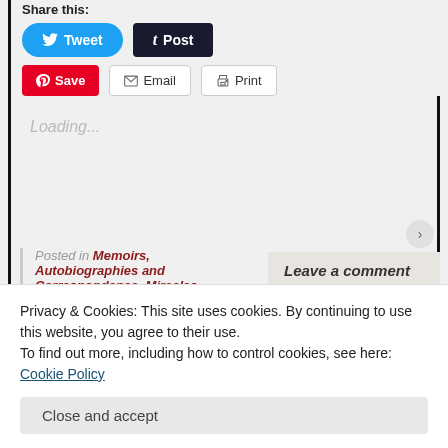Share this:
[Figure (screenshot): Share buttons row 1: Tweet (blue rounded button) and Post (dark button)]
[Figure (screenshot): Share buttons row 2: Save (red Pinterest), Email, Print]
Loading...
Posted in Memoirs, Autobiographies and Correspondence, Miracles, Monasticism and Monastery Lessons, Persecution, Suffering and Crucified Church
Tagged Abbess Thaisia, Abbess Thaisia
[Figure (screenshot): Leave a comment button]
Privacy & Cookies: This site uses cookies. By continuing to use this website, you agree to their use.
To find out more, including how to control cookies, see here: Cookie Policy
Close and accept